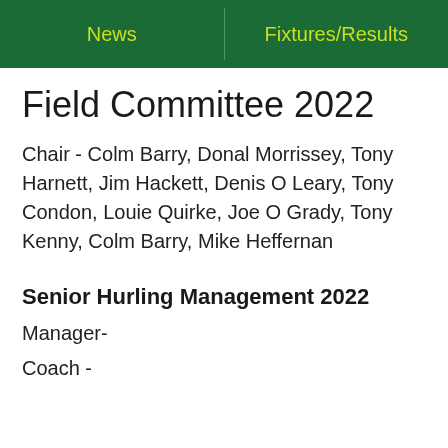News | Fixtures/Results
Field Committee 2022
Chair - Colm Barry, Donal Morrissey, Tony Harnett, Jim Hackett, Denis O Leary, Tony Condon, Louie Quirke, Joe O Grady, Tony Kenny, Colm Barry, Mike Heffernan
Senior Hurling Management 2022
Manager-
Coach -